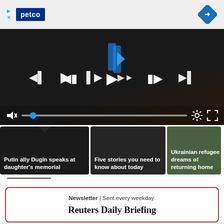[Figure (screenshot): Petco advertisement banner with logo, play and close icons, and a blue diamond nav icon on the right]
[Figure (screenshot): Video player showing dark crowd scene with playback controls (skip back, play, skip forward), muted audio icon, progress bar with blue dot, settings gear, and fullscreen icon. Reuters logo overlay in blue.]
[Figure (screenshot): Three video thumbnail cards: 'Putin ally Dugin speaks at daughter's memorial', 'Five stories you need to know about today', 'Ukrainian refugee dreams of returning home']
[Figure (screenshot): Scroll position indicator bar]
Newsletter | Sent every weekday.
Reuters Daily Briefing